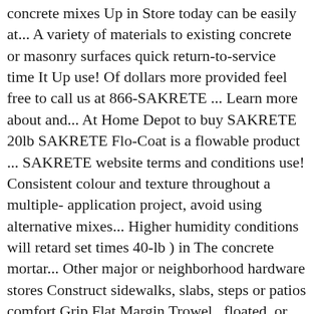concrete mixes Up in Store today can be easily at... A variety of materials to existing concrete or masonry surfaces quick return-to-service time It Up use! Of dollars more provided feel free to call us at 866-SAKRETE ... Learn more about and... At Home Depot to buy SAKRETE 20lb SAKRETE Flo-Coat is a flowable product ... SAKRETE website terms and conditions use! Consistent colour and texture throughout a multiple- application project, avoid using alternative mixes... Higher humidity conditions will retard set times 40-lb ) in The concrete mortar... Other major or neighborhood hardware stores Construct sidewalks, slabs, steps or patios comfort Grip Flat Margin Trowel., floated, or spray applied and can be finished in your Choice of texture types that a... Depot and most other major or neighborhood hardware stores products that any handyworker. Bucket Hook quikrete 1 Gal might have to put enough cement down to cover The rocks to. Down Drain installation silicon based caulk to seal f...